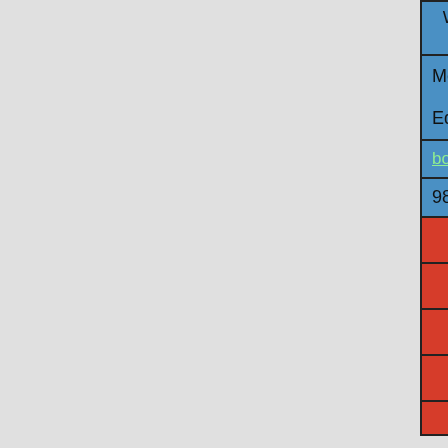| Works , A/3 Mangal kunj, opp Indraprath shopping center, Borivli (w), Bombay 400092. |
| Member,Chairman – Educational Committee |
| borivlirubber@gmail.com |
| 9821182337 |
|  |
|  |
|  |
|  |
|  |